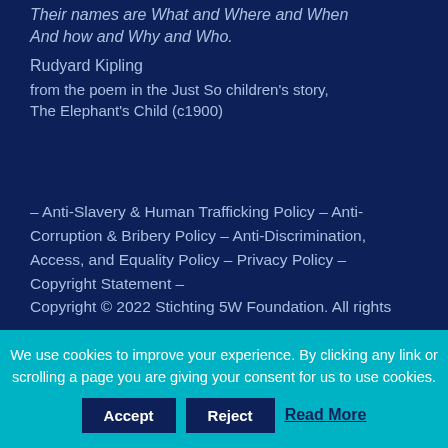Their names are What and Where and When
And how and Why and Who.
Rudyard Kipling
from the poem in the Just So children's story, The Elephant's Child (c1900)
– Anti-Slavery & Human Trafficking Policy – Anti-Corruption & Bribery Policy – Anti-Discrimination, Access, and Equality Policy – Privacy Policy – Copyright Statement –
Copyright © 2022 Stichting 5W Foundation. All rights
We use cookies to improve your experience. By clicking any link or scrolling a page you are giving your consent for us to use cookies.